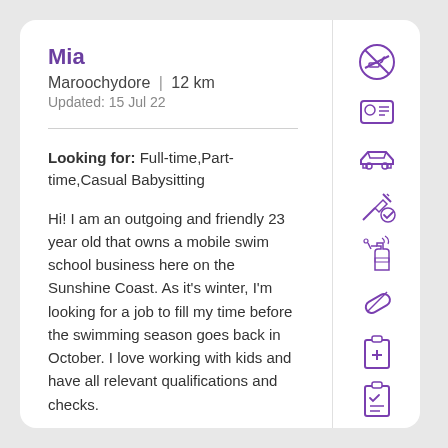Mia
Maroochydore | 12 km
Updated: 15 Jul 22
Looking for: Full-time,Part-time,Casual Babysitting
Hi! I am an outgoing and friendly 23 year old that owns a mobile swim school business here on the Sunshine Coast. As it's winter, I'm looking for a job to fill my time before the swimming season goes back in October. I love working with kids and have all relevant qualifications and checks.
[Figure (illustration): No smoking icon (purple outline circle with cigarette crossed out)]
[Figure (illustration): ID card / identity verification icon (purple outline)]
[Figure (illustration): Car icon (purple outline)]
[Figure (illustration): Vaccination / syringe with checkmark icon (purple outline)]
[Figure (illustration): Spray bottle / cleaning icon (purple outline)]
[Figure (illustration): Eraser / pencil icon (purple outline)]
[Figure (illustration): First aid / medical clipboard with plus sign icon (purple outline)]
[Figure (illustration): Checklist / clipboard with checkmark icon (purple outline)]